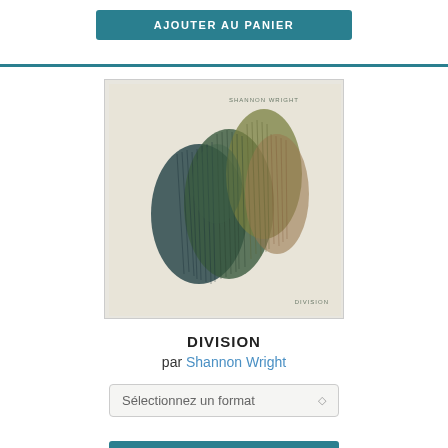AJOUTER AU PANIER
[Figure (illustration): Album cover for 'Division' by Shannon Wright. Abstract artwork showing dark green, blue, and brown brushstroke-like marks on a beige/cream background. Text 'SHANNON WRIGHT' in top right and 'DIVISION' in bottom right.]
DIVISION
par Shannon Wright
Sélectionnez un format
AJOUTER AU PANIER